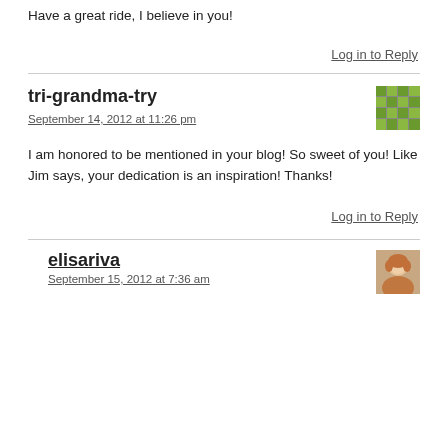Have a great ride, I believe in you!
Log in to Reply
tri-grandma-try
September 14, 2012 at 11:26 pm
I am honored to be mentioned in your blog! So sweet of you! Like Jim says, your dedication is an inspiration! Thanks!
Log in to Reply
elisariva
September 15, 2012 at 7:36 am